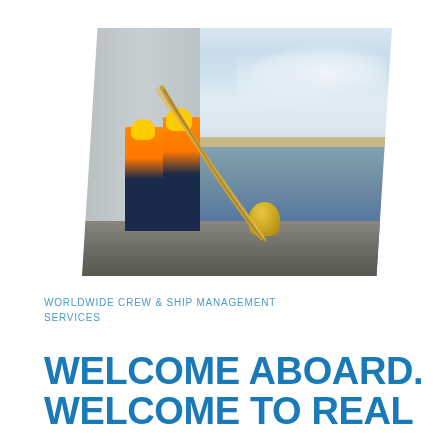[Figure (photo): Two workers in orange high-visibility jackets and yellow hard hats working on a dock, handling a large mooring rope attached to a bollard, with a large ship's hull on the left and open water/sea in the background under a partly cloudy sky.]
WORLDWIDE CREW & SHIP MANAGEMENT SERVICES
WELCOME ABOARD. WELCOME TO REAL